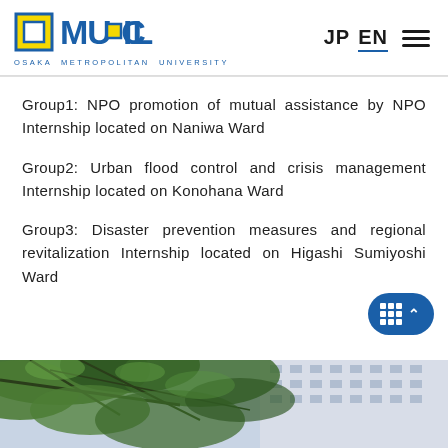OMU-COIL OSAKA METROPOLITAN UNIVERSITY | JP EN
Group1: NPO promotion of mutual assistance by NPO Internship located on Naniwa Ward
Group2: Urban flood control and crisis management Internship located on Konohana Ward
Group3: Disaster prevention measures and regional revitalization Internship located on Higashi Sumiyoshi Ward
[Figure (photo): Outdoor photo showing tree branches with green leaves in foreground and a modern building with blue sky in background]